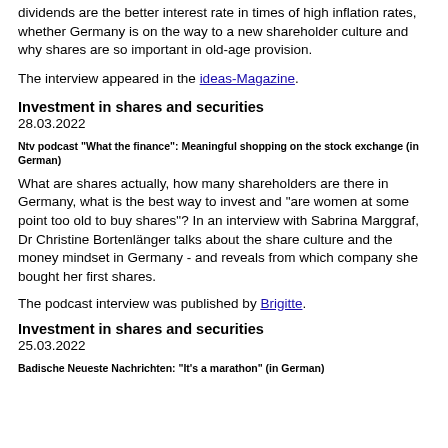dividends are the better interest rate in times of high inflation rates, whether Germany is on the way to a new shareholder culture and why shares are so important in old-age provision.
The interview appeared in the ideas-Magazine.
Investment in shares and securities
28.03.2022
Ntv podcast "What the finance": Meaningful shopping on the stock exchange (in German)
What are shares actually, how many shareholders are there in Germany, what is the best way to invest and "are women at some point too old to buy shares"? In an interview with Sabrina Marggraf, Dr Christine Bortenlänger talks about the share culture and the money mindset in Germany - and reveals from which company she bought her first shares.
The podcast interview was published by Brigitte.
Investment in shares and securities
25.03.2022
Badische Neueste Nachrichten: "It's a marathon" (in German)